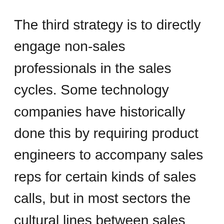The third strategy is to directly engage non-sales professionals in the sales cycles. Some technology companies have historically done this by requiring product engineers to accompany sales reps for certain kinds of sales calls, but in most sectors the cultural lines between sales and non-sales are deeply marked.
This step takes some planning, but for those willing to do it, the results